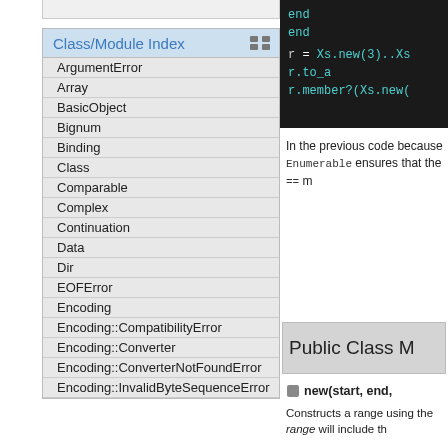[Figure (screenshot): Code block showing Ruby code with 'end', 'r = Xs.new(3)..Xs', 'r.to_a', 'r.member?(Xs.new(' on dark background]
Class/Module Index
ArgumentError
Array
BasicObject
Bignum
Binding
Class
Comparable
Complex
Continuation
Data
Dir
EOFError
Encoding
Encoding::CompatibilityError
Encoding::Converter
Encoding::ConverterNotFoundError
Encoding::InvalidByteSequenceError
In the previous code because Enumerable ensures that the == m
Public Class M
new(start, end,
Constructs a range using the range will include th